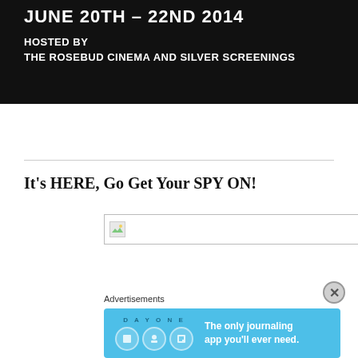[Figure (photo): Banner image with dark background showing text: JUNE 20th - 22nd 2014, HOSTED BY THE ROSEBUD CINEMA AND SILVER SCREENINGS]
It's HERE, Go Get Your SPY ON!
[Figure (photo): Broken/missing image placeholder with small icon]
Advertisements
[Figure (illustration): Day One app advertisement: The only journaling app you'll ever need.]